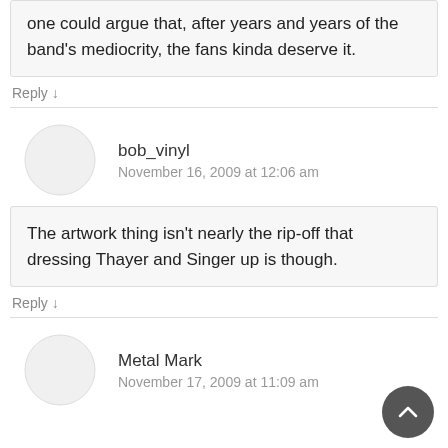one could argue that, after years and years of the band's mediocrity, the fans kinda deserve it.
Reply ↓
bob_vinyl
November 16, 2009 at 12:06 am
The artwork thing isn't nearly the rip-off that dressing Thayer and Singer up is though.
Reply ↓
Metal Mark
November 17, 2009 at 11:09 am